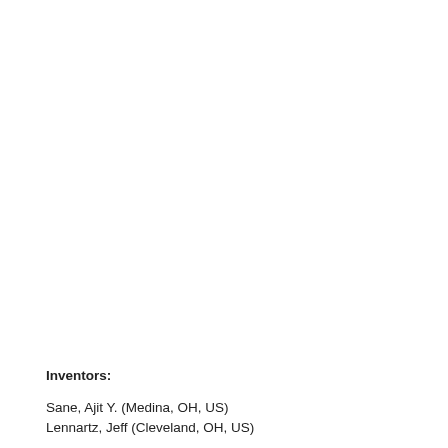Inventors:
Sane, Ajit Y. (Medina, OH, US)
Lennartz, Jeff (Cleveland, OH, US)